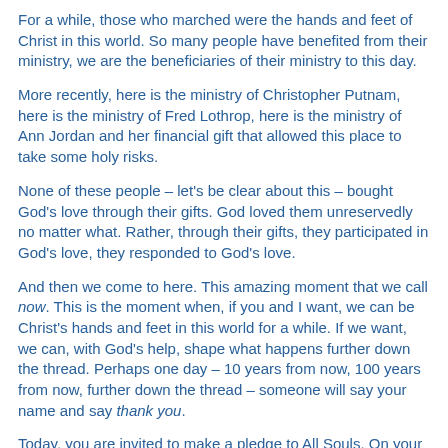For a while, those who marched were the hands and feet of Christ in this world. So many people have benefited from their ministry, we are the beneficiaries of their ministry to this day.
More recently, here is the ministry of Christopher Putnam, here is the ministry of Fred Lothrop, here is the ministry of Ann Jordan and her financial gift that allowed this place to take some holy risks.
None of these people – let's be clear about this – bought God's love through their gifts. God loved them unreservedly no matter what. Rather, through their gifts, they participated in God's love, they responded to God's love.
And then we come to here. This amazing moment that we call now. This is the moment when, if you and I want, we can be Christ's hands and feet in this world for a while. If we want, we can, with God's help, shape what happens further down the thread. Perhaps one day – 10 years from now, 100 years from now, further down the thread – someone will say your name and say thank you.
Today, you are invited to make a pledge to All Souls. On your pledge card, there is a check box on the card that says: This is a proportional gift. That statement is deliberately ambiguous. For me, when I check that box at my home parish, at Grace Memorial in Portland, it will mean that